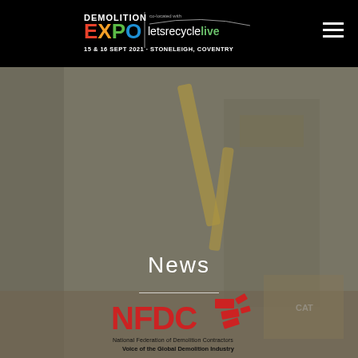[Figure (logo): Demolition Expo co-located with letsrecyclelive — 15 & 16 Sept 2021 · Stoneleigh, Coventry]
[Figure (photo): Background photo of demolition site with yellow excavators]
News
[Figure (logo): NFDC — National Federation of Demolition Contractors. Voice of the Global Demolition Industry]